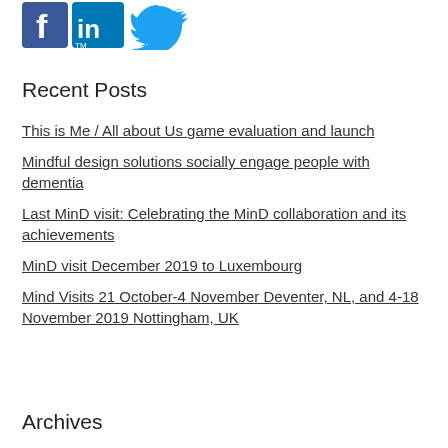[Figure (logo): Social media icons: Facebook, LinkedIn, Twitter]
Recent Posts
This is Me / All about Us game evaluation and launch
Mindful design solutions socially engage people with dementia
Last MinD visit: Celebrating the MinD collaboration and its achievements
MinD visit December 2019 to Luxembourg
Mind Visits 21 October-4 November Deventer, NL, and 4-18 November 2019 Nottingham, UK
Archives